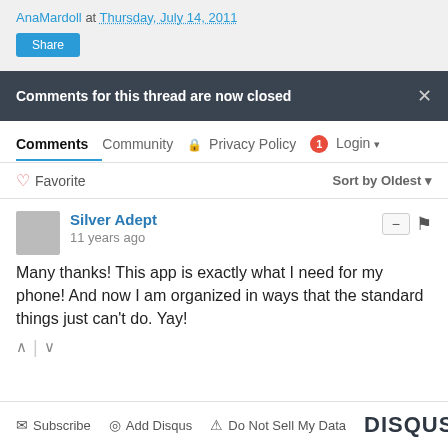AnaMardoll at Thursday, July 14, 2011
Share
Comments for this thread are now closed
Comments  Community  Privacy Policy  1  Login
Favorite  Sort by Oldest
Silver Adept
11 years ago
Many thanks! This app is exactly what I need for my phone! And now I am organized in ways that the standard things just can't do. Yay!
Subscribe  Add Disqus  Do Not Sell My Data  DISQUS